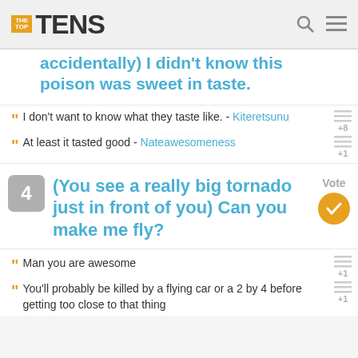THE TOP TENS
(accidentally) I didn't know this poison was sweet in taste.
I don't want to know what they taste like. - Kiteretsunu  +8
At least it tasted good - Nateawesomeness  +1
4  (You see a really big tornado just in front of you) Can you make me fly?  Vote
Man you are awesome  +1
You'll probably be killed by a flying car or a 2 by 4 before getting too close to that thing  +1